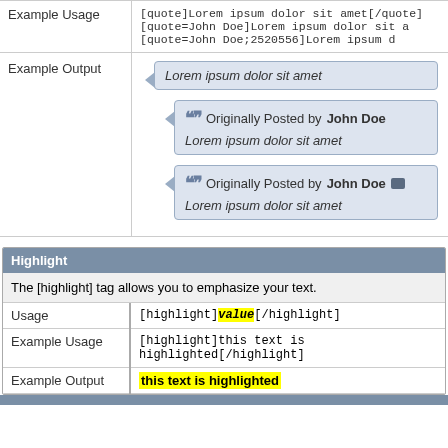|  |  |
| --- | --- |
| Example Usage | [quote]Lorem ipsum dolor sit amet[/quote]
[quote=John Doe]Lorem ipsum dolor sit a
[quote=John Doe;2520556]Lorem ipsum d |
| Example Output | (quote boxes with Lorem ipsum dolor sit amet) |
| Highlight |
| --- |
| The [highlight] tag allows you to emphasize your text. |
| Usage | [highlight]value[/highlight] |
| Example Usage | [highlight]this text is highlighted[/highlight] |
| Example Output | this text is highlighted |